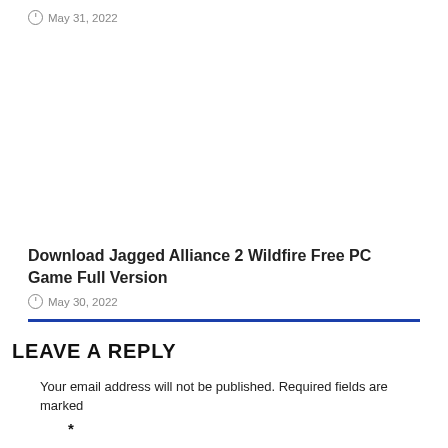May 31, 2022
Download Jagged Alliance 2 Wildfire Free PC Game Full Version
May 30, 2022
LEAVE A REPLY
Your email address will not be published. Required fields are marked *